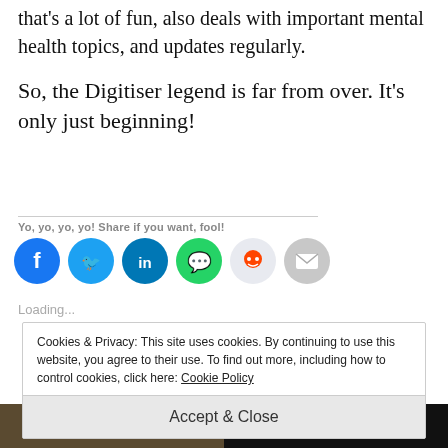that's a lot of fun, also deals with important mental health topics, and updates regularly.
So, the Digitiser legend is far from over. It's only just beginning!
Yo, yo, yo, yo! Share if you want, fool!
[Figure (infographic): Row of social share buttons: Facebook (blue), Twitter (cyan), LinkedIn (dark blue), WhatsApp (green), Reddit (light grey), Email (grey)]
Loading...
Cookies & Privacy: This site uses cookies. By continuing to use this website, you agree to their use. To find out more, including how to control cookies, click here: Cookie Policy
Accept & Close
[Figure (photo): Two thumbnail images at bottom of page: a dark warm-toned image on the left and a dark image with graphic text on the right]